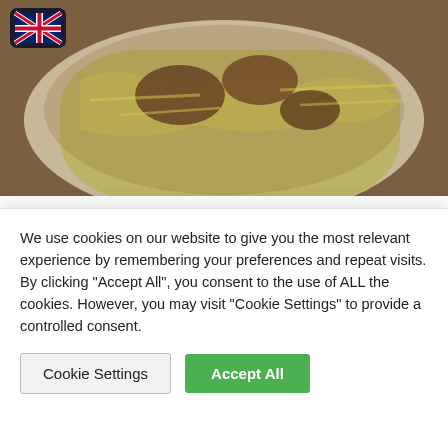[Figure (photo): Food photo showing a plate of pasta with meat sauce (pasta casarecce or similar short pasta with braised beef ragù), photographed from above on a wooden surface. A UK flag badge/button appears in the top-left corner.]
This magnificent minimal dish does not have its origin in Genova but in world´s culinary capital, Naples of course
ingredients for 4 servings (cost about 6€ pp)
800 g beef shoulder (or 400 g beef
We use cookies on our website to give you the most relevant experience by remembering your preferences and repeat visits. By clicking "Accept All", you consent to the use of ALL the cookies. However, you may visit "Cookie Settings" to provide a controlled consent.